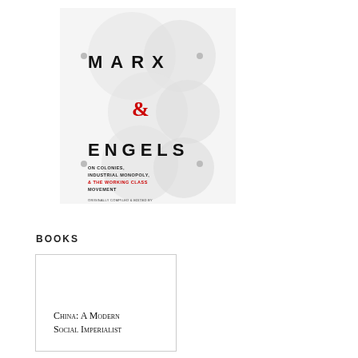[Figure (illustration): Book cover for Marx & Engels 'On Colonies, Industrial Monopoly, & The Working Class Movement'. White background with overlapping circular shapes. Large bold spaced text 'MARX' near top, red ampersand '&' in middle, then 'ENGELS' below. Subtitle text and publication info at bottom of cover.]
BOOKS
[Figure (illustration): Book cover card for 'China: A Modern Social Imperialist' — white cover with title text in serif small-caps style.]